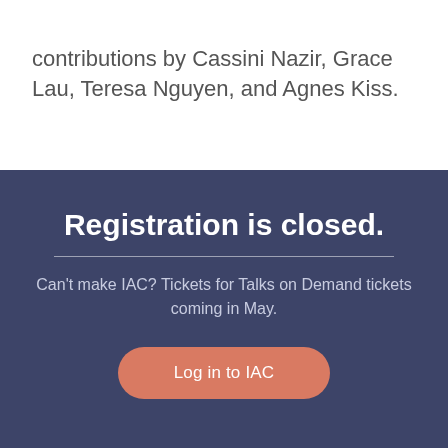contributions by Cassini Nazir, Grace Lau, Teresa Nguyen, and Agnes Kiss.
Registration is closed.
Can't make IAC? Tickets for Talks on Demand tickets coming in May.
Log in to IAC